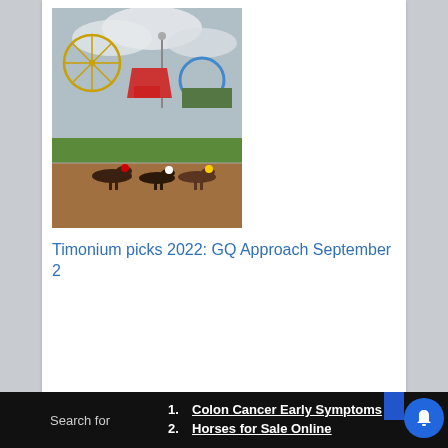[Figure (photo): Horse racing scene at Timonium racetrack with horses and jockeys mid-race, carnival rides visible in background, cloudy sky.]
Timonium picks 2022: GQ Approach September 2
SHARE:
Search for
1. Colon Cancer Early Symptoms
2. Horses for Sale Online